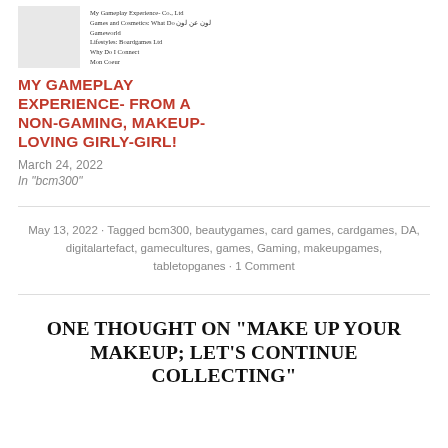[Figure (photo): Small grey thumbnail image placeholder]
My Gameplay Experience- Co., Ltd
Games and Cosmetics: What Do لون عن لون
Gameworld
Lifestyles: Boardgames Ltd
Why Do I Connect
Mon Coeur
MY GAMEPLAY EXPERIENCE- FROM A NON-GAMING, MAKEUP-LOVING GIRLY-GIRL!
March 24, 2022
In "bcm300"
May 13, 2022 · Tagged bcm300, beautygames, card games, cardgames, DA, digitalartefact, gamecultures, games, Gaming, makeupgames, tabletopganes · 1 Comment
ONE THOUGHT ON "MAKE UP YOUR MAKEUP; LET'S CONTINUE COLLECTING"